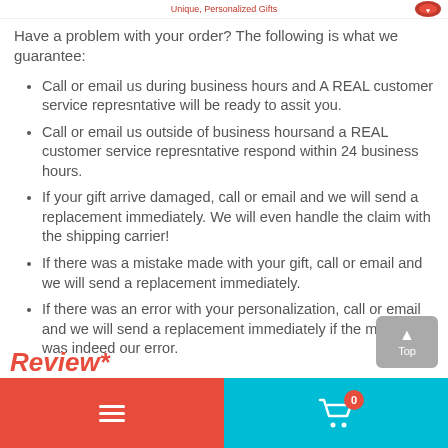Unique, Personalized Gifts
Have a problem with your order? The following is what we guarantee:
Call or email us during business hours and A REAL customer service represntative will be ready to assit you.
Call or email us outside of business hoursand a REAL customer service represntative respond within 24 business hours.
If your gift arrive damaged, call or email and we will send a replacement immediately. We will even handle the claim with the shipping carrier!
If there was a mistake made with your gift, call or email and we will send a replacement immediately.
If there was an error with your personalization, call or email and we will send a replacement immediately if the mistake was indeed our error.
Review*
Navigation menu | Cart 0